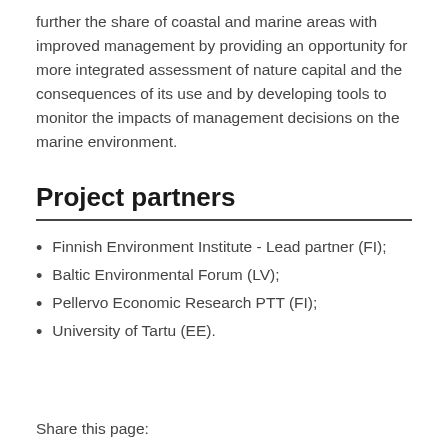further the share of coastal and marine areas with improved management by providing an opportunity for more integrated assessment of nature capital and the consequences of its use and by developing tools to monitor the impacts of management decisions on the marine environment.
Project partners
Finnish Environment Institute - Lead partner (FI);
Baltic Environmental Forum (LV);
Pellervo Economic Research PTT (FI);
University of Tartu (EE).
Share this page: